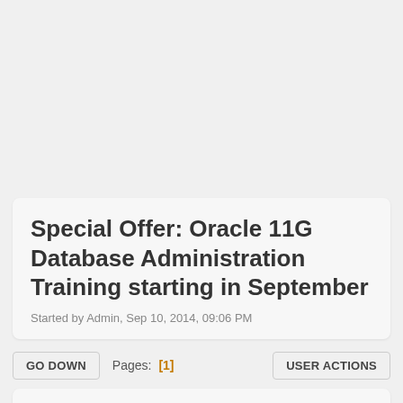Special Offer: Oracle 11G Database Administration Training starting in September
Started by Admin, Sep 10, 2014, 09:06 PM
GO DOWN   Pages: [1]   USER ACTIONS
Admin